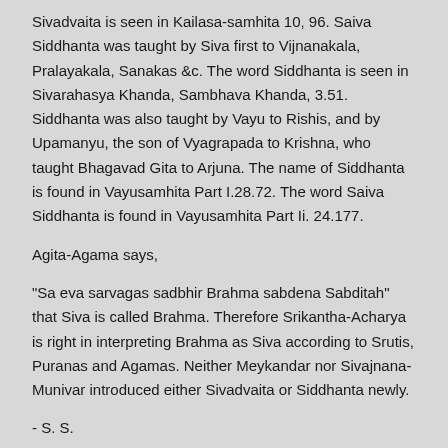Sivadvaita is seen in Kailasa-samhita 10, 96. Saiva Siddhanta was taught by Siva first to Vijnanakala, Pralayakala, Sanakas &c. The word Siddhanta is seen in Sivarahasya Khanda, Sambhava Khanda, 3.51. Siddhanta was also taught by Vayu to Rishis, and by Upamanyu, the son of Vyagrapada to Krishna, who taught Bhagavad Gita to Arjuna. The name of Siddhanta is found in Vayusamhita Part I.28.72. The word Saiva Siddhanta is found in Vayusamhita Part Ii. 24.177.
Agita-Agama says,
"Sa eva sarvagas sadbhir Brahma sabdena Sabditah" that Siva is called Brahma. Therefore Srikantha-Acharya is right in interpreting Brahma as Siva according to Srutis, Puranas and Agamas. Neither Meykandar nor Sivajnana-Munivar introduced either Sivadvaita or Siddhanta newly.
- S. S.